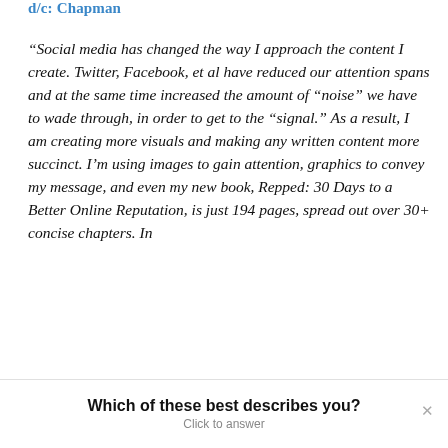d/c: Chapman
“Social media has changed the way I approach the content I create. Twitter, Facebook, et al have reduced our attention spans and at the same time increased the amount of “noise” we have to wade through, in order to get to the “signal.” As a result, I am creating more visuals and making any written content more succinct. I’m using images to gain attention, graphics to convey my message, and even my new book, Repped: 30 Days to a Better Online Reputation, is just 194 pages, spread out over 30+ concise chapters. In
Which of these best describes you?
Click to answer